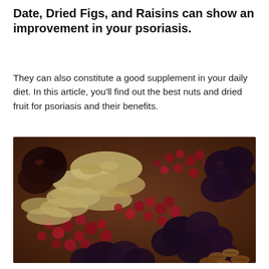Date, Dried Figs, and Raisins can show an improvement in your psoriasis.
They can also constitute a good supplement in your daily diet. In this article, you'll find out the best nuts and dried fruit for psoriasis and their benefits.
[Figure (photo): A close-up photo of assorted dried fruits and nuts arranged together, including dark dates, dried figs, cranberries, dried plums/prunes, banana chips, and pecans, displayed on a wooden surface.]